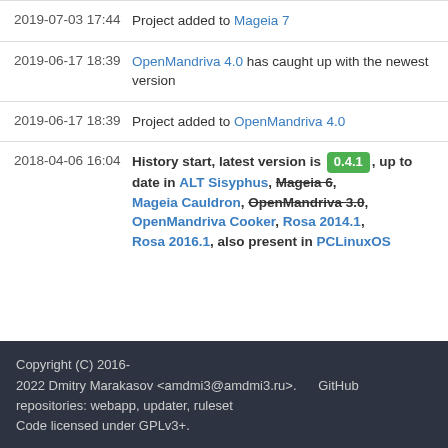| Timestamp | Event |
| --- | --- |
| 2019-07-03 17:44 | Project added to Mageia 7 |
| 2019-06-17 18:39 | OpenMandriva 4.0 has caught up with the newest version |
| 2019-06-17 18:39 | Project added to OpenMandriva 4.0 |
| 2018-04-06 16:04 | History start, latest version is 0.4.1, up to date in ALT Sisyphus, Mageia 6, Mageia Cauldron, OpenMandriva 3.0, OpenMandriva Cooker, Rosa 2014.1, Rosa 2016.1, also present in PCLinuxOS |
Copyright (C) 2016-2022 Dmitry Marakasov <amdmi3@amdmi3.ru>. Code licensed under GPLv3+. GitHub repositories: webapp, updater, ruleset